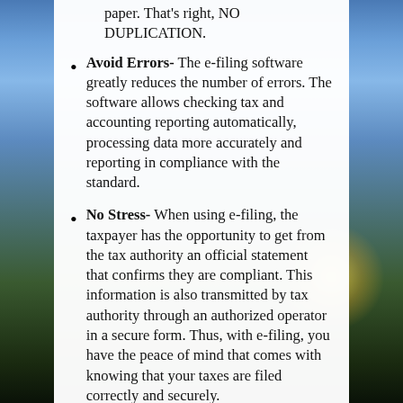Avoid Errors- The e-filing software greatly reduces the number of errors. The software allows checking tax and accounting reporting automatically, processing data more accurately and reporting in compliance with the standard.
No Stress- When using e-filing, the taxpayer has the opportunity to get from the tax authority an official statement that confirms they are compliant. This information is also transmitted by tax authority through an authorized operator in a secure form. Thus, with e-filing, you have the peace of mind that comes with knowing that your taxes are filed correctly and securely.
Confidentiality- It provides the necessary level of information security and is equipped with the latest encryption